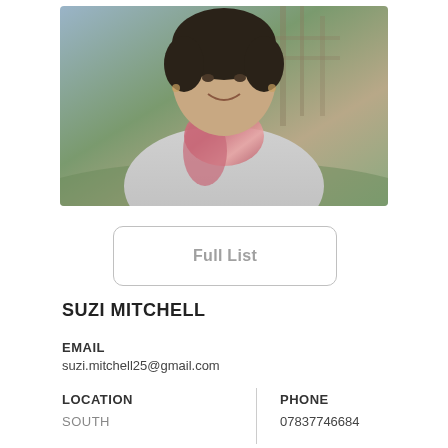[Figure (photo): Profile photo of Suzi Mitchell, a woman with short dark hair wearing a grey cardigan and pink floral scarf, photographed outdoors with trees in background]
Full List
SUZI MITCHELL
EMAIL
suzi.mitchell25@gmail.com
LOCATION
SOUTH
PHONE
07837746684